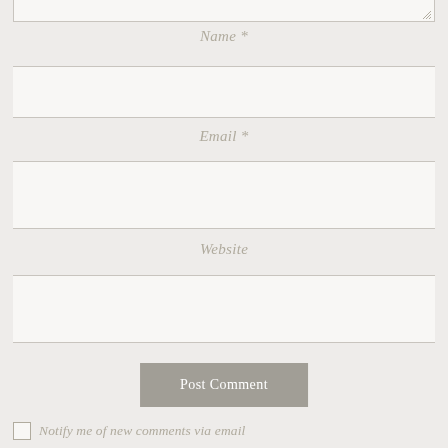[Figure (screenshot): Comment form with textarea (top edge visible), Name field with label, Email field with label, Website field with label, Post Comment button, and Notify me of new comments via email checkbox with label]
Name *
Email *
Website
Post Comment
Notify me of new comments via email